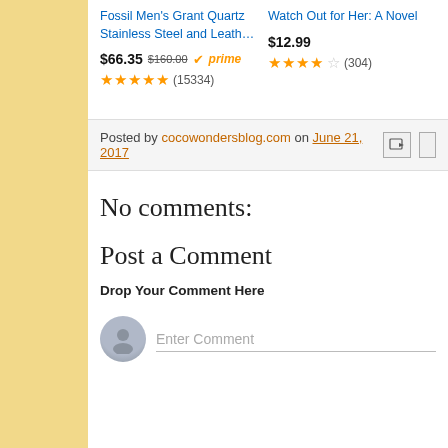Fossil Men's Grant Quartz Stainless Steel and Leath…
Watch Out for Her: A Novel
$66.35  $160.00  prime  (15334)
$12.99  (304)
Posted by cocowondersblog.com on June 21, 2017
No comments:
Post a Comment
Drop Your Comment Here
Enter Comment